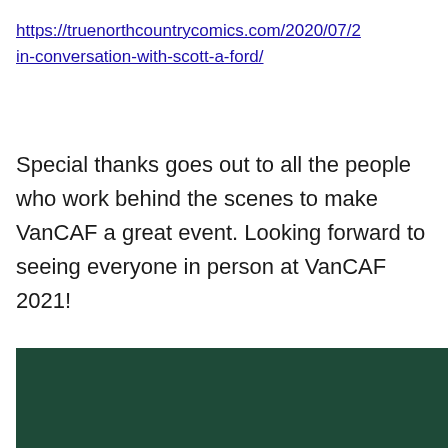https://truenorthcountrycomics.com/2020/07/24/in-conversation-with-scott-a-ford/
Special thanks goes out to all the people who work behind the scenes to make VanCAF a great event. Looking forward to seeing everyone in person at VanCAF 2021!
[Figure (other): Dark green rectangular banner at the bottom of the page]